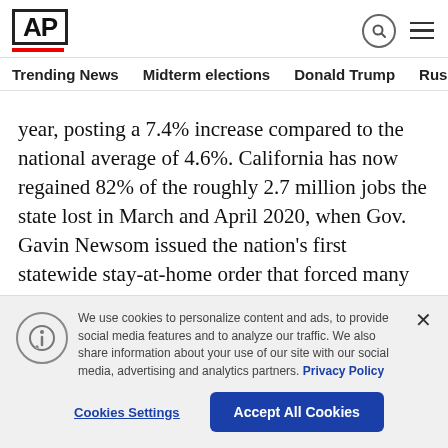AP
Trending News  Midterm elections  Donald Trump  Russia-Ukr
year, posting a 7.4% increase compared to the national average of 4.6%. California has now regained 82% of the roughly 2.7 million jobs the state lost in March and April 2020, when Gov. Gavin Newsom issued the nation's first statewide stay-at-home order that forced many businesses to close because of the pandemic.
We use cookies to personalize content and ads, to provide social media features and to analyze our traffic. We also share information about your use of our site with our social media, advertising and analytics partners. Privacy Policy
Cookies Settings  Accept All Cookies